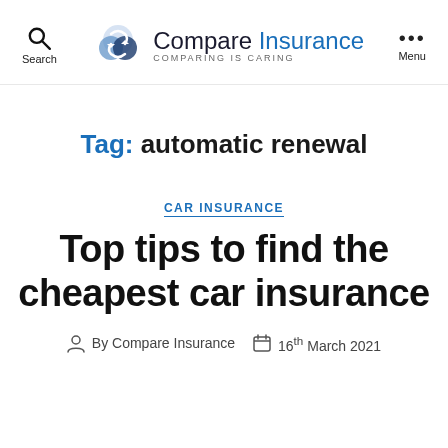Search | Compare Insurance COMPARING IS CARING | Menu
Tag: automatic renewal
CAR INSURANCE
Top tips to find the cheapest car insurance
By Compare Insurance  16th March 2021